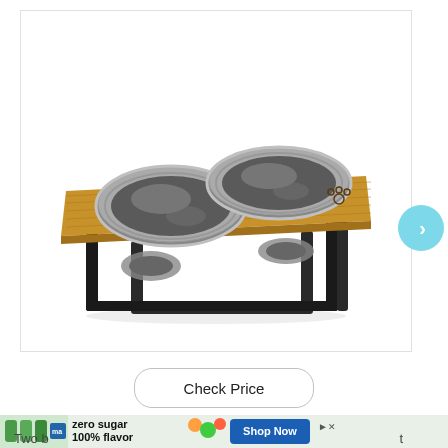[Figure (photo): Elevated dog bowl feeder stand with a wooden top surface and black metal frame legs, holding two stainless steel bowls side by side. A small paw print icon is engraved on the wooden top surface near the right bowl.]
Check Price
[Figure (infographic): Advertisement banner showing Mable zero sugar 100% flavor drinks with green bottles and fruit imagery. Includes 'Shop Now' button in blue.]
Two b...